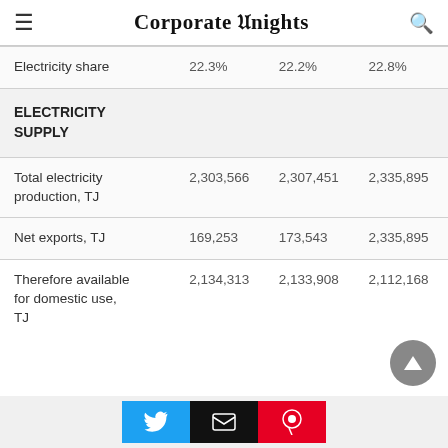Corporate Knights
|  |  |  |  |
| --- | --- | --- | --- |
| Electricity share | 22.3% | 22.2% | 22.8% |
| ELECTRICITY SUPPLY |  |  |  |
| Total electricity production, TJ | 2,303,566 | 2,307,451 | 2,335,895 |
| Net exports, TJ | 169,253 | 173,543 | 2,335,895 |
| Therefore available for domestic use, TJ | 2,134,313 | 2,133,908 | 2,112,168 |